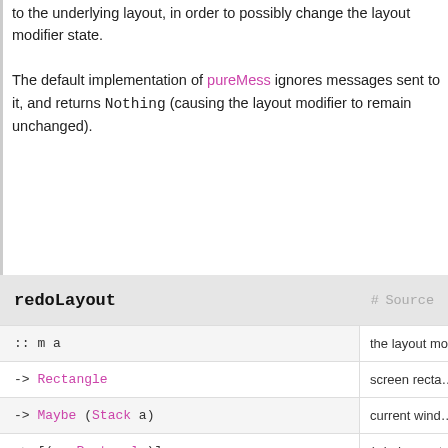to the underlying layout, in order to possibly change the layout modifier state.

The default implementation of pureMess ignores messages sent to it, and returns Nothing (causing the layout modifier to remain unchanged).
redoLayout   # Source
| signature | description |
| --- | --- |
| :: m a | the layout modifier |
| -> Rectangle | screen recta… |
| -> Maybe (Stack a) | current wind… stack |
| -> [(a, Rectangle)] | (window,rect… pairs return… the underlyi… layout |
| -> X ([(a, Rectangle)], Maybe (m a)) |  |
redoLayout allows you to intercept a call to runLayout on workspaces with at least one window, after it is called on the underlying layout, in order to perform some effect in the X…